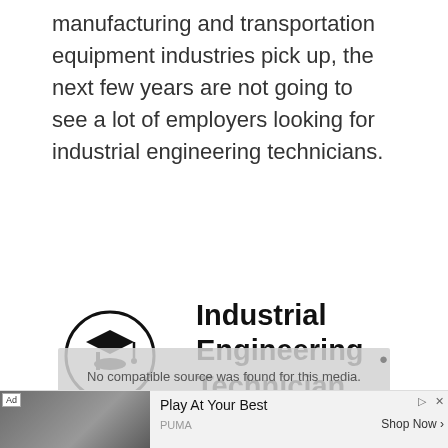manufacturing and transportation equipment industries pick up, the next few years are not going to see a lot of employers looking for industrial engineering technicians.
Industrial Engineering Technician Degree
[Figure (illustration): Graduation cap icon inside a circle]